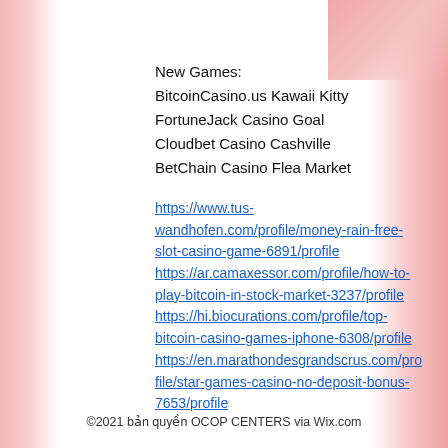New Games:
BitcoinCasino.us Kawaii Kitty
FortuneJack Casino Goal
Cloudbet Casino Cashville
BetChain Casino Flea Market
https://www.tus-wandhofen.com/profile/money-rain-free-slot-casino-game-6891/profile https://ar.camaxessor.com/profile/how-to-play-bitcoin-in-stock-market-3237/profile https://hi.biocurations.com/profile/top-bitcoin-casino-games-iphone-6308/profile https://en.marathondesgrandscrus.com/profile/star-games-casino-no-deposit-bonus-7653/profile
©2021 bản quyền OCOP CENTERS via Wix.com